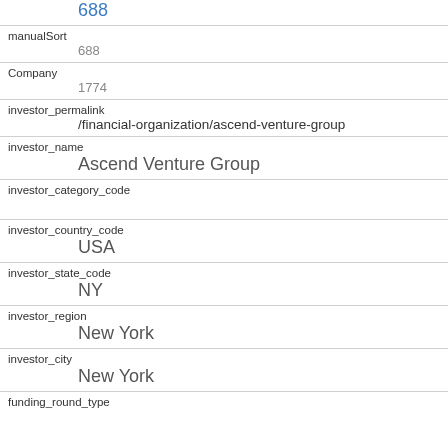id: 688
manualSort: 688
Company: 1774
investor_permalink: /financial-organization/ascend-venture-group
investor_name: Ascend Venture Group
investor_category_code:
investor_country_code: USA
investor_state_code: NY
investor_region: New York
investor_city: New York
funding_round_type: